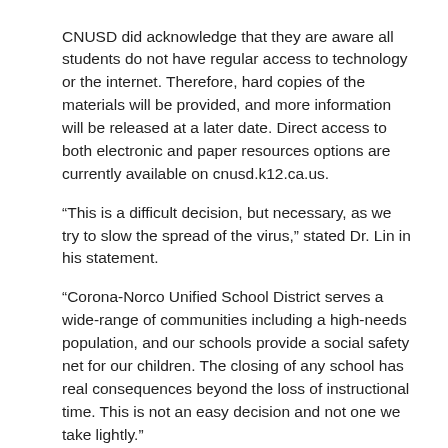CNUSD did acknowledge that they are aware all students do not have regular access to technology or the internet. Therefore, hard copies of the materials will be provided, and more information will be released at a later date. Direct access to both electronic and paper resources options are currently available on cnusd.k12.ca.us. “This is a difficult decision, but necessary, as we try to slow the spread of the virus,” stated Dr. Lin in his statement. “Corona-Norco Unified School District serves a wide-range of communities including a high-needs population, and our schools provide a social safety net for our children. The closing of any school has real consequences beyond the loss of instructional time. This is not an easy decision and not one we take lightly.” Since this is a rapidly changing situation, CNUSD staff advises that parents and families check their email regularly and visit cnusd.k12.ca.us for frequent updates. Dr. Lin stated they will communicate via email, Facebook and Twitter during the course of this closure, as well.